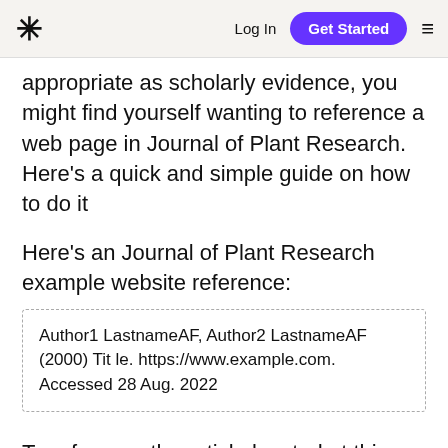* Log In  Get Started  ≡
appropriate as scholarly evidence, you might find yourself wanting to reference a web page in Journal of Plant Research. Here's a quick and simple guide on how to do it
Here's an Journal of Plant Research example website reference:
Author1 LastnameAF, Author2 LastnameAF (2000) Title. https://www.example.com. Accessed 28 Aug. 2022
To reference the article located at this link: https://www.theguardian.com/world/2008/nov/05/usele on The Guardian website: